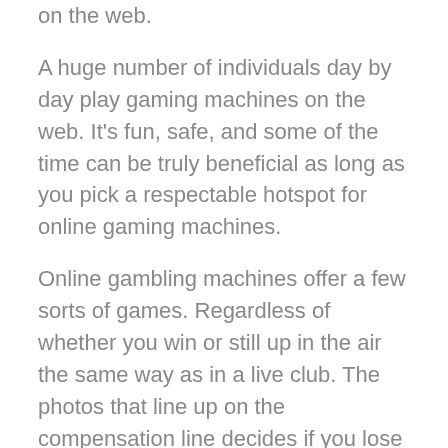on the web.
A huge number of individuals day by day play gaming machines on the web. It's fun, safe, and some of the time can be truly beneficial as long as you pick a respectable hotspot for online gaming machines.
Online gambling machines offer a few sorts of games. Regardless of whether you win or still up in the air the same way as in a live club. The photos that line up on the compensation line decides if you lose or win. There are varieties of the game with different compensation lines. The